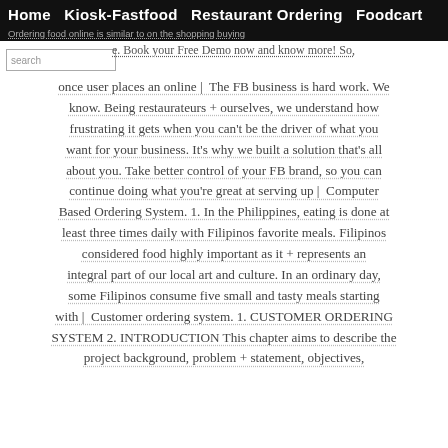Home  Kiosk-Fastfood  Restaurant Ordering  Foodcart
Ordering food online is similar to on the shopping buying
e. Book your Free Demo now and know more! So, once user places an online | The FB business is hard work. We know. Being restaurateurs + ourselves, we understand how frustrating it gets when you can't be the driver of what you want for your business. It's why we built a solution that's all about you. Take better control of your FB brand, so you can continue doing what you're great at serving up | Computer Based Ordering System. 1. In the Philippines, eating is done at least three times daily with Filipinos favorite meals. Filipinos considered food highly important as it + represents an integral part of our local art and culture. In an ordinary day, some Filipinos consume five small and tasty meals starting with | Customer ordering system. 1. CUSTOMER ORDERING SYSTEM 2. INTRODUCTION This chapter aims to describe the project background, problem + statement, objectives,